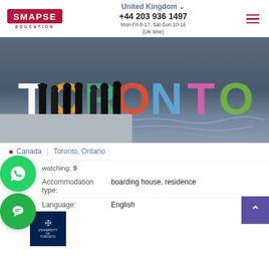SMAPSE EDUCATION | United Kingdom | +44 203 936 1497 | Mon-Fri 8-17, Sat-Sun 10-16 (UK time)
[Figure (photo): Graduates in academic robes posing in front of the colorful Toronto sign with water reflection in the background]
Canada | Toronto, Ontario
watching: 9
Accommodation type: boarding house, residence
Language: English